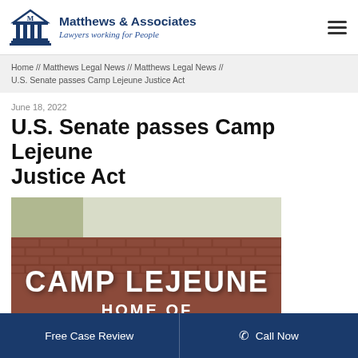Matthews & Associates — Lawyers working for People
Home // Matthews Legal News // Matthews Legal News // U.S. Senate passes Camp Lejeune Justice Act
June 18, 2022
U.S. Senate passes Camp Lejeune Justice Act
[Figure (photo): Brick wall sign reading CAMP LEJEUNE HOME OF EXPEDITIONARY at a military base entrance]
Free Case Review | Call Now